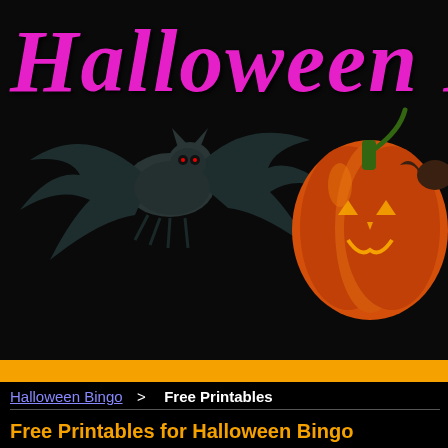[Figure (illustration): Halloween website header banner with a large bat graphic on the left, an orange jack-o-lantern pumpkin on the right, and bright pink/magenta 'Halloween F' text overlay in gothic script on a dark background]
Halloween Bingo  >  Free Printables
Free Printables for Halloween Bingo
Here are some free printables for playing Halloween bingo. The printables inc... call sheet (for the host/teacher to use for bingo calls), and as well as a set of 8... cards to give to the players.
Note: If you need more or different bingo cards, please see the instructions or print custom bingo cards.
To print, please click the Print button in the preview window: